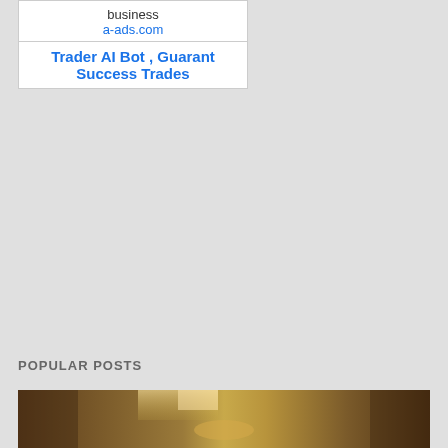[Figure (screenshot): Advertisement box with two sections: top section shows 'business' text and 'a-ads.com' link; bottom section shows 'Trader AI Bot , Guarant' and 'Success Trades' links in blue bold text]
POPULAR POSTS
[Figure (photo): Sepia-toned photograph of a cave or tunnel interior with light streaming through, showing rocky walls and a path or stream with golden/warm tones]